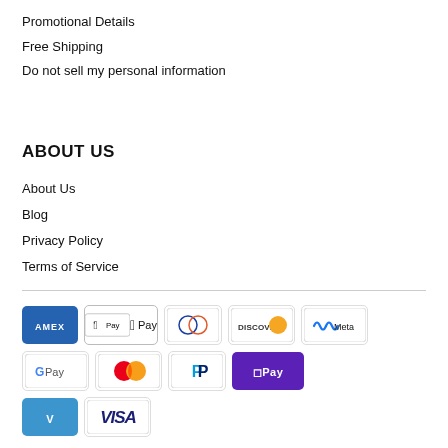Promotional Details
Free Shipping
Do not sell my personal information
ABOUT US
About Us
Blog
Privacy Policy
Terms of Service
[Figure (other): Payment method icons: American Express, Apple Pay, Diners Club, Discover, Meta Pay, Google Pay, Mastercard, PayPal, O Pay, Venmo, Visa]